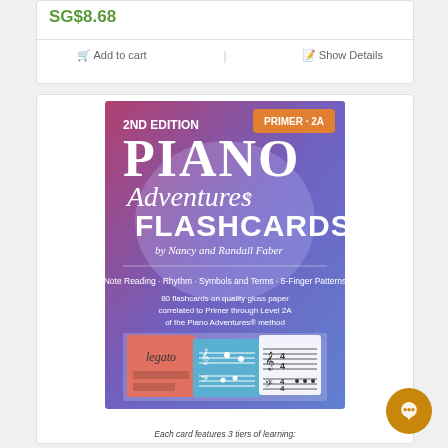SG$8.68
Add to cart
Show Details
[Figure (photo): Book cover of Piano Adventures Flashcards 2nd Edition, Primer-2A, by Nancy and Randall Faber. Features flashcard samples showing legato card, music notation cards. Text reads: Note Reading · Rhythm · Symbols and Terms · 5-Finger Patterns. 80 flashcards on quality gloss paper correlated to Primer through Level 2A of the Piano Adventures method.]
Each card features 3 tiers of learning: